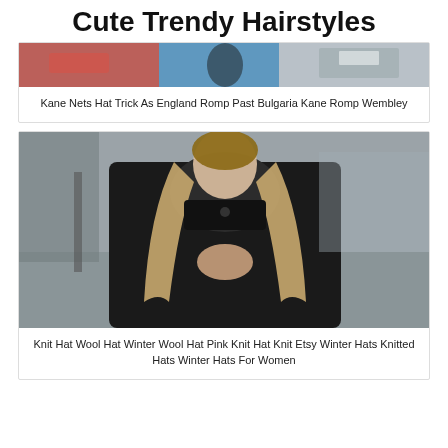Cute Trendy Hairstyles
[Figure (photo): Cropped photo showing people in a stadium/sports setting with red and blue colors visible]
Kane Nets Hat Trick As England Romp Past Bulgaria Kane Romp Wembley
[Figure (photo): Woman with long blonde hair wearing a dark denim jacket, hands clasped in front, standing outdoors on a city street]
Knit Hat Wool Hat Winter Wool Hat Pink Knit Hat Knit Etsy Winter Hats Knitted Hats Winter Hats For Women